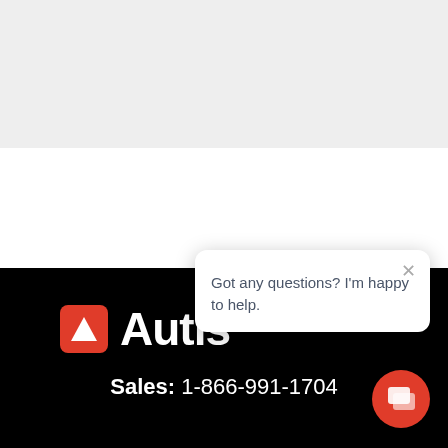[Figure (screenshot): Screenshot of a website page showing a gray top section, white middle section, and black footer with Autis logo and sales number. A chat popup bubble is visible saying 'Got any questions? I'm happy to help.' with a close button. An orange chat button is in the bottom right corner.]
Got any questions? I'm happy to help.
Autis
Sales: 1-866-991-1704